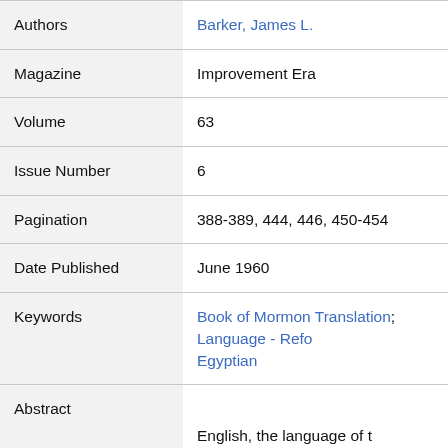| Field | Value |
| --- | --- |
| Authors | Barker, James L. |
| Magazine | Improvement Era |
| Volume | 63 |
| Issue Number | 6 |
| Pagination | 388-389, 444, 446, 450-454 |
| Date Published | June 1960 |
| Keywords | Book of Mormon Translation; Language - Reformed Egyptian |
| Abstract | English, the language of t
employed by Joseph Smith, m
original thought, persona |